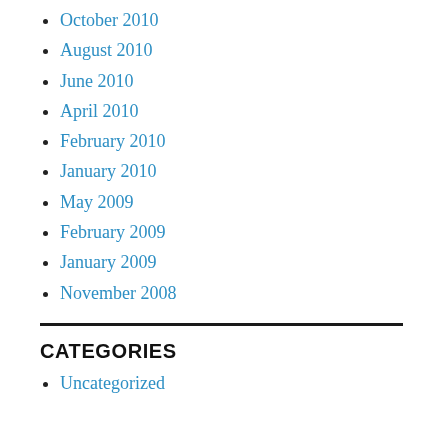October 2010
August 2010
June 2010
April 2010
February 2010
January 2010
May 2009
February 2009
January 2009
November 2008
CATEGORIES
Uncategorized